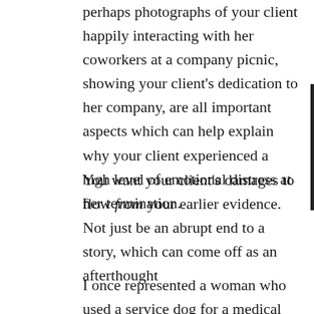perhaps photographs of your client happily interacting with her coworkers at a company picnic, showing your client's dedication to her company, are all important aspects which can help explain why your client experienced a high level of emotional distress at her termination.
You want your client's damages to flow from your earlier evidence.  Not just be an abrupt end to a story, which can come off as an afterthought
I once represented a woman who used a service dog for a medical condition unrelated to loss of sight. She kept getting thrown off local commuter buses because drivers told her that